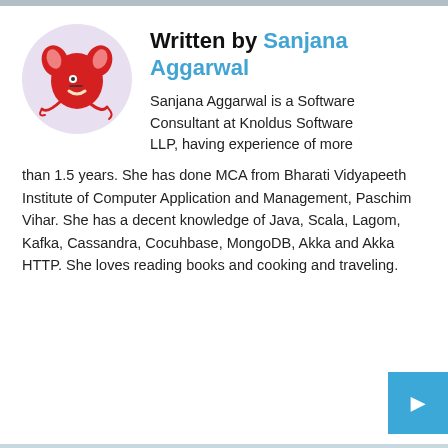[Figure (illustration): Cartoon avatar of a red octopus-like creature with ears and tentacles on a light purple circular background]
Written by Sanjana Aggarwal
Sanjana Aggarwal is a Software Consultant at Knoldus Software LLP, having experience of more than 1.5 years. She has done MCA from Bharati Vidyapeeth Institute of Computer Application and Management, Paschim Vihar. She has a decent knowledge of Java, Scala, Lagom, Kafka, Cassandra, Cocuhbase, MongoDB, Akka and Akka HTTP. She loves reading books and cooking and traveling.